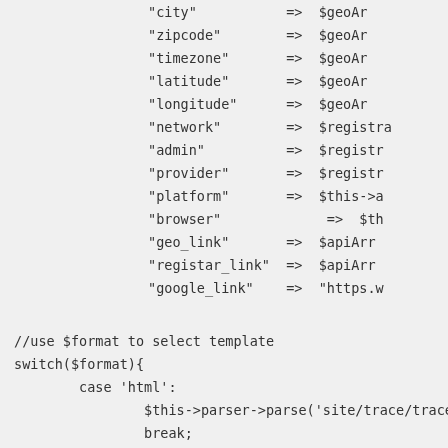"city"           =>  $geoAr
"zipcode"        =>  $geoAr
"timezone"       =>  $geoAr
"latitude"       =>  $geoAr
"longitude"      =>  $geoAr
"network"        =>  $registra
"admin"          =>  $registr
"provider"       =>  $registr
"platform"       =>  $this->a
"browser"             =>  $th
"geo_link"       =>  $apiArr
"registar_link"  =>  $apiArr
"google_link"    =>  "https.w
//use $format to select template
switch($format){
        case 'html':
                $this->parser->parse('site/trace/trace.html.
                break;
        case 'xml':
                $this->parser->parse('site/trace/trace.xml.p